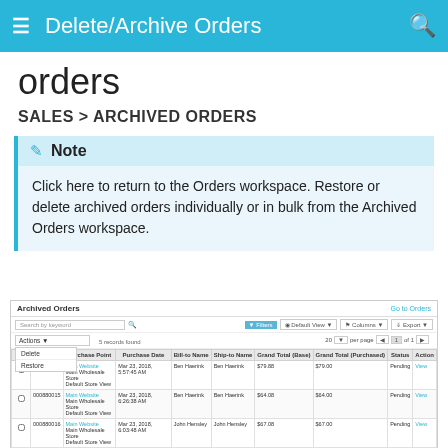Delete/Archive Orders
orders
SALES > ARCHIVED ORDERS
Note
Click here to return to the Orders workspace. Restore or delete archived orders individually or in bulk from the Archived Orders workspace.
[Figure (screenshot): Screenshot of the Archived Orders workspace showing a table with order records, a dropdown menu open with Delete and Restore options, and columns for order details including Purchase Date, Bill-to Name, Ship-to Name, Grand Total (Base), Grand Total (Purchased), Status, and Action.]